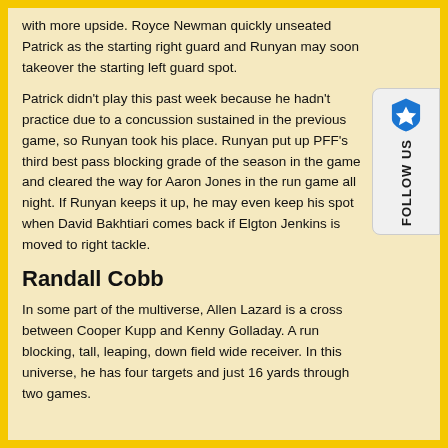with more upside. Royce Newman quickly unseated Patrick as the starting right guard and Runyan may soon takeover the starting left guard spot.
Patrick didn't play this past week because he hadn't practice due to a concussion sustained in the previous game, so Runyan took his place. Runyan put up PFF's third best pass blocking grade of the season in the game and cleared the way for Aaron Jones in the run game all night. If Runyan keeps it up, he may even keep his spot when David Bakhtiari comes back if Elgton Jenkins is moved to right tackle.
Randall Cobb
In some part of the multiverse, Allen Lazard is a cross between Cooper Kupp and Kenny Golladay. A run blocking, tall, leaping, down field wide receiver. In this universe, he has four targets and just 16 yards through two games.